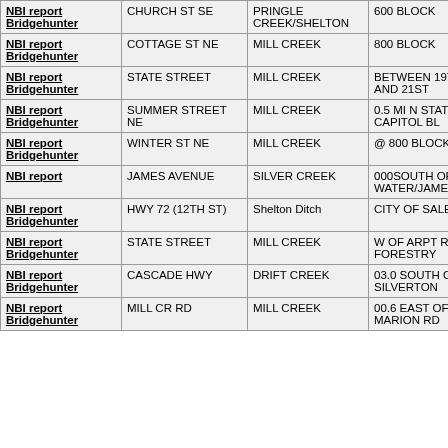| NBI report Bridgehunter | CHURCH ST SE | PRINGLE CREEK/SHELTON | 600 BLOCK |
| NBI report Bridgehunter | COTTAGE ST NE | MILL CREEK | 800 BLOCK |
| NBI report Bridgehunter | STATE STREET | MILL CREEK | BETWEEN 19TH AND 21ST |
| NBI report Bridgehunter | SUMMER STREET NE | MILL CREEK | 0.5 MI N STATE CAPITOL BL |
| NBI report Bridgehunter | WINTER ST NE | MILL CREEK | @ 800 BLOCK |
| NBI report | JAMES AVENUE | SILVER CREEK | 000SOUTH OF WATER/JAMES I |
| NBI report Bridgehunter | HWY 72 (12TH ST) | Shelton Ditch | CITY OF SALEM |
| NBI report Bridgehunter | STATE STREET | MILL CREEK | W OF ARPT RD/DEP FORESTRY |
| NBI report Bridgehunter | CASCADE HWY | DRIFT CREEK | 03.0 SOUTH OF SILVERTON |
| NBI report Bridgehunter | MILL CR RD | MILL CREEK | 00.6 EAST OF MARION RD |